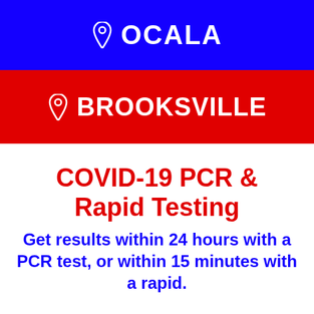OCALA
BROOKSVILLE
COVID-19 PCR & Rapid Testing
Get results within 24 hours with a PCR test, or within 15 minutes with a rapid.